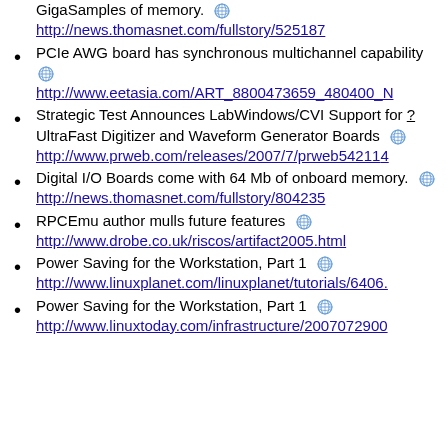GigaSamples of memory. http://news.thomasnet.com/fullstory/525187
PCIe AWG board has synchronous multichannel capability http://www.eetasia.com/ART_8800473659_480400_...
Strategic Test Announces LabWindows/CVI Support for ?UltraFast Digitizer and Waveform Generator Boards http://www.prweb.com/releases/2007/7/prweb5421l4...
Digital I/O Boards come with 64 Mb of onboard memory. http://news.thomasnet.com/fullstory/804235
RPCEmu author mulls future features http://www.drobe.co.uk/riscos/artifact2005.html
Power Saving for the Workstation, Part 1 http://www.linuxplanet.com/linuxplanet/tutorials/6406...
Power Saving for the Workstation, Part 1 http://www.linuxtoday.com/infrastructure/2007072900...